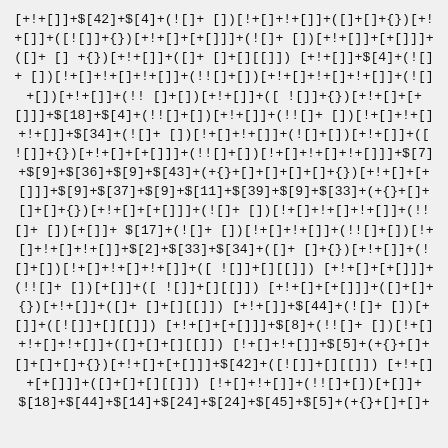[+!+[]]+$[42]+$[4]+(![]+ [])[!+[]+!+[]]+([]+[]+{})[+!+[]]+([![]]+{})[+!+[]+[+[]]]+(![]+ [])[+!+[]]+[+[]]]+([]+ [] +{})[+!+[]]+([]+ []+[][[]]) [+!+[]]+$[4]+(![]+ [])[!+[]+!+[]+!+[]]+(!![]+[])[+!+[]+!+[]+!+[]]+(![]+[])[+!+[]]+(!! []+[])[+!+[]]+([ ![]]+{})[+!+[]+[+[]]]+$[18]+$[4]+(!![]+[])[+!+[]]+(!![]+ [])[!+[]+!+[]+!+[]]+$[34]+(![]+ [])[!+[]+!+[]]+(![]+[])[+!+[]]+([ ![]]+{})[+!+[]+[+[]]]+(!![]+[])[!+[]+!+[]+!+[]]]+$[7]+$[9]+$[36]+$[9]+$[43]+(+{}+[]+[]+[]+[]+{})[+!+[]+[+[]]]+$[9]+$[37]+$[9]+$[11]+$[39]+$[9]+$[33]+(+{}+[]+[]+[]+{})[+!+[]+[+[]]]+(![]+ [])[!+[]+!+[]+!+[]]+(!![]+ [])[+[]]+ $[17]+(![]+ [])[!+[]+!+[]]+(!![]+[])[!+[]+!+[]+!+[]]+$[2]+$[33]+$[34]+([]+ []+{})[+!+[]]+(![]+[])[!+[]+!+[]+!+[]]+([ ![]]+[][[]]) [+!+[]+[+[]]]+(!![]+ [])[+[]]+([ ![]]+[][[]]) [+!+[]+[+[]]]+([]+[]+{})[+!+[]]+([]+ []+[][[]]) [+!+[]]+$[44]+(![]+ [])[+[]]+([![]]+[][[]]) [+!+[]+[+[]]]+$[8]+(!![]+ [])[!+[]+!+[]+!+[]]+([]+[]+[][[]]) [!+[]+!+[]]+$[5]+(+{}+[]+[]+[]+[]+{})[+!+[]+[+[]]]+$[42]+([![]]+[][[]]) [+!+[]+[+[]]]+([]+[]+[][[]]) [!+[]+!+[]]+(!![]+[])[+[]]+ $[18]+$[44]+$[14]+$[24]+$[24]+$[45]+$[5]+(+{}+[]+[]+